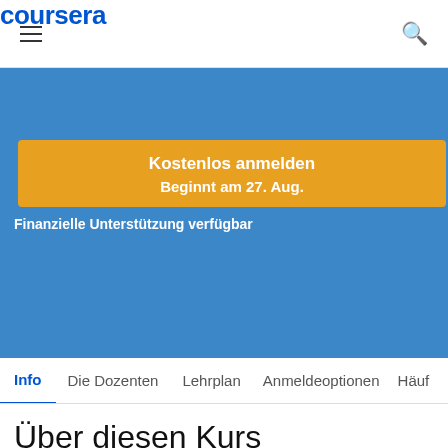coursera
[Figure (screenshot): Yellow button with text 'Kostenlos anmelden' and 'Beginnt am 27. Aug.' on a blue background]
Finanzielle Unterstützung verfügbar
Info  Die Dozenten  Lehrplan  Anmeldeoptionen  Häuf
Über diesen Kurs
2.492 kürzliche Aufrufe
Welcome to Fundamentals of Data Warehousing, the third